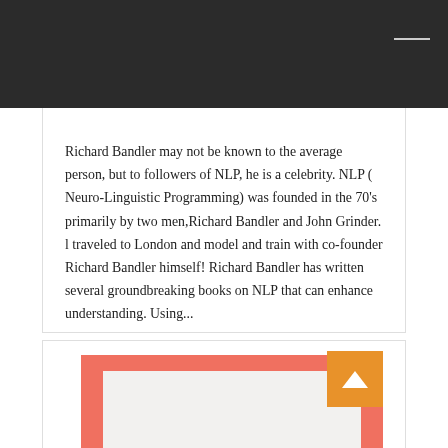Richard Bandler may not be known to the average person, but to followers of NLP, he is a celebrity. NLP ( Neuro-Linguistic Programming)  was founded in the 70's primarily by two men,Richard Bandler and John Grinder. l traveled to London and model and train with co-founder Richard Bandler himself! Richard Bandler has written several groundbreaking books on NLP that can enhance understanding.  Using...
Continue Reading→
[Figure (other): Bottom card with salmon/coral colored frame and white inner area, with an orange button containing an upward chevron in the top right corner]